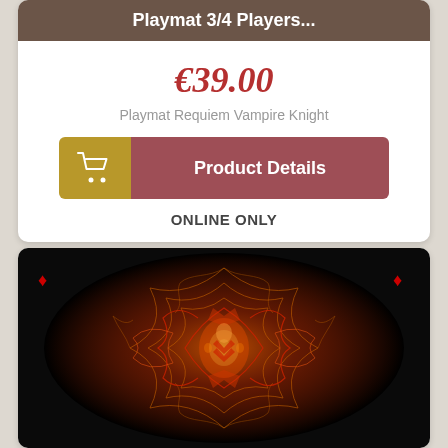Playmat 3/4 Players...
€39.00
Playmat Requiem Vampire Knight
Product Details
ONLINE ONLY
[Figure (photo): Dark artistic playmat design featuring a symmetrical orange and red fractal pattern on black background, resembling a demonic or vampire motif with decorative corners]